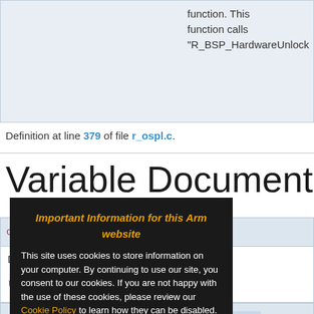function. This function calls "R_BSP_HardwareUnlock
Definition at line 379 of file r_ospl.c.
Variable Documentation
c_ospl_error_res error [static]
DEBUG_WORK".
r_ospl.c.
r_ospl_global_error rjs_global_error [static]
Important Information for this Arm website
This site uses cookies to store information on your computer. By continuing to use our site, you consent to our cookies. If you are not happy with the use of these cookies, please review our Cookie Policy to learn how they can be disabled. By disabling cookies, some features of the site will not work.
Accept and hide this message